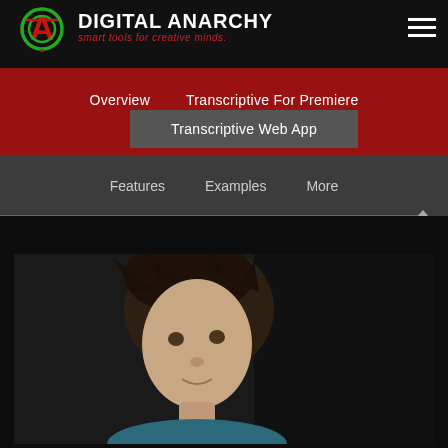DIGITAL ANARCHY — smart tools for creative minds.
Overview  Transcriptive For Premiere
Transcriptive Web App
Features  Examples  More
[Figure (photo): Portrait photo of a young person with short dark hair against a dark background, shown from shoulders up, slightly smiling.]